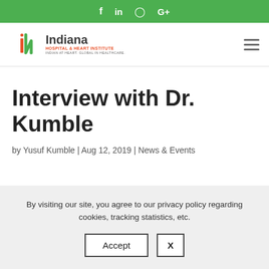f  in  Instagram  G+
[Figure (logo): Indiana Hospital and Heart Institute logo with tagline INDIAN AT HEART. GLOBAL IN HEALTHCARE.]
Interview with Dr. Kumble
by Yusuf Kumble | Aug 12, 2019 | News & Events
By visiting our site, you agree to our privacy policy regarding cookies, tracking statistics, etc.